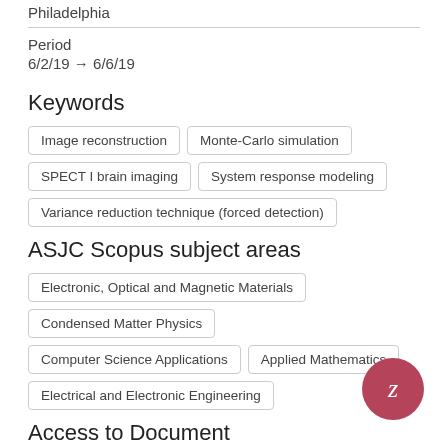Philadelphia
Period
6/2/19 → 6/6/19
Keywords
Image reconstruction
Monte-Carlo simulation
SPECT I brain imaging
System response modeling
Variance reduction technique (forced detection)
ASJC Scopus subject areas
Electronic, Optical and Magnetic Materials
Condensed Matter Physics
Computer Science Applications
Applied Mathematics
Electrical and Electronic Engineering
Access to Document
10.1117/12.2534991